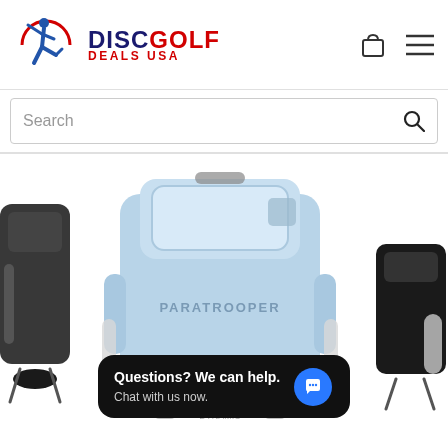[Figure (logo): Disc Golf Deals USA logo with blue golfer silhouette inside red circle arc, and text DISC GOLF DEALS USA]
Search
[Figure (photo): Disc golf bags and accessories: a light blue Paratrooper backpack bag in the center, a black disc golf bag on the left, and a black accessory pouch on the right, with water bottles visible on the sides. Dynamic Discs brand visible at bottom.]
Questions? We can help. Chat with us now.